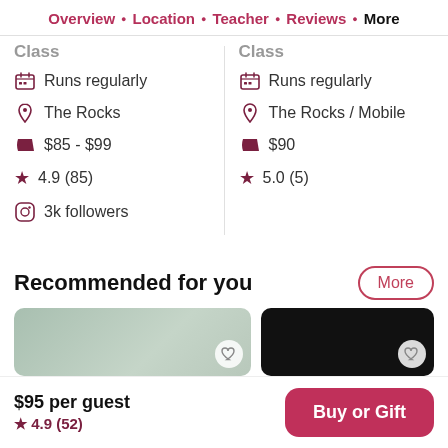Overview · Location · Teacher · Reviews · More
Class — Runs regularly, The Rocks, $85 - $99, 4.9 (85), 3k followers
Class — Runs regularly, The Rocks / Mobile, $90, 5.0 (5)
Recommended for you
More
[Figure (photo): Two card images at bottom, left card shows light greenish interior, right card is dark/black]
$95 per guest ★ 4.9 (52)
Buy or Gift